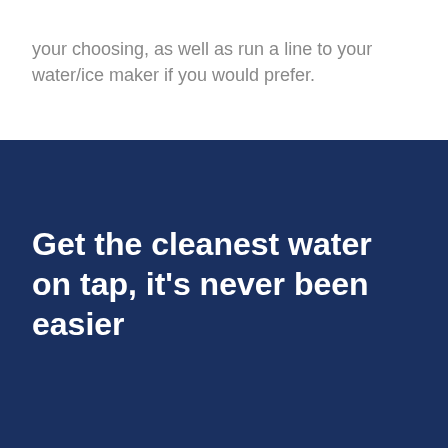your choosing, as well as run a line to your water/ice maker if you would prefer.
Get the cleanest water on tap, it's never been easier